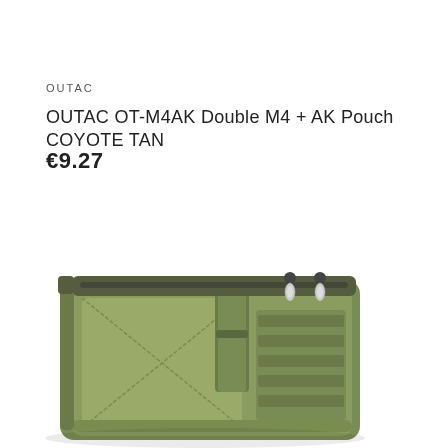OUTAC
OUTAC OT-M4AK Double M4 + AK Pouch COYOTE TAN
€9.27
[Figure (photo): Olive/coyote tan tactical MOLLE pouch, shown from top-front angle. The pouch has a zippered top with two olive-colored zipper pulls, a velcro front panel with an X-stitched pattern, MOLLE webbing straps along the right side, and a central handle/strap. The product is the OUTAC OT-M4AK Double M4 + AK Pouch in Coyote Tan color.]